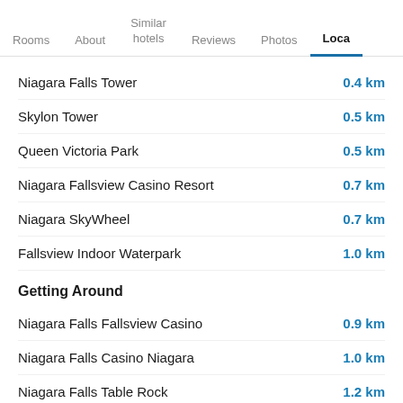Rooms | About | Similar hotels | Reviews | Photos | Loca…
Niagara Falls Tower — 0.4 km
Skylon Tower — 0.5 km
Queen Victoria Park — 0.5 km
Niagara Fallsview Casino Resort — 0.7 km
Niagara SkyWheel — 0.7 km
Fallsview Indoor Waterpark — 1.0 km
Getting Around
Niagara Falls Fallsview Casino — 0.9 km
Niagara Falls Casino Niagara — 1.0 km
Niagara Falls Table Rock — 1.2 km
Niagara Falls — 2.8 km
Niagara Falls Oakwood Dr SW — 3.6 km